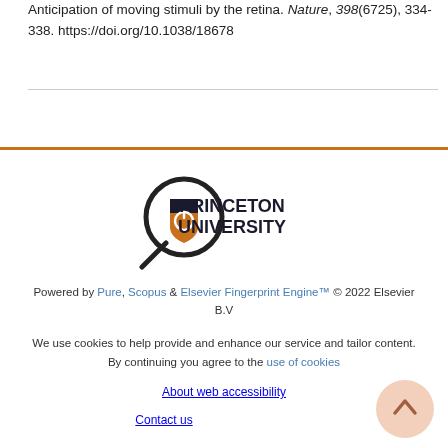Berry, M. J., Brivanlou, I. H., Jordan, T. A., & Meister, M. (1999). Anticipation of moving stimuli by the retina. Nature, 398(6725), 334-338. https://doi.org/10.1038/18678
[Figure (logo): Princeton University logo with magnifying glass icon and bold text PRINCETON UNIVERSITY]
Powered by Pure, Scopus & Elsevier Fingerprint Engine™ © 2022 Elsevier B.V
We use cookies to help provide and enhance our service and tailor content. By continuing you agree to the use of cookies
About web accessibility
Contact us